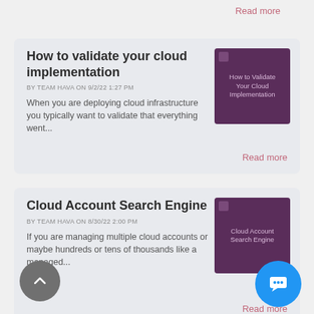Read more
How to validate your cloud implementation
BY TEAM HAVA ON 9/2/22 1:27 PM
When you are deploying cloud infrastructure you typically want to validate that everything went...
[Figure (illustration): Thumbnail image with dark purple background and white text: How to Validate Your Cloud Implementation]
Read more
Cloud Account Search Engine
BY TEAM HAVA ON 8/30/22 2:00 PM
If you are managing multiple cloud accounts or maybe hundreds or tens of thousands like a managed...
[Figure (illustration): Thumbnail image with dark purple background and white text: Cloud Account Search Engine]
Read more